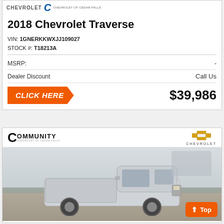[Figure (logo): Chevrolet of Cedar Falls logo bar at top of card]
2018 Chevrolet Traverse
VIN: 1GNERKKWXJJ109027
STOCK #: T18213A
|  |  |
| --- | --- |
| MSRP: | - |
| Dealer Discount | Call Us |
| CLICK HERE | $39,986 |
[Figure (photo): Community Chevrolet of Cedar Falls dealer listing card with photo of silver 2018 Chevrolet Silverado pickup truck in dealership lot]